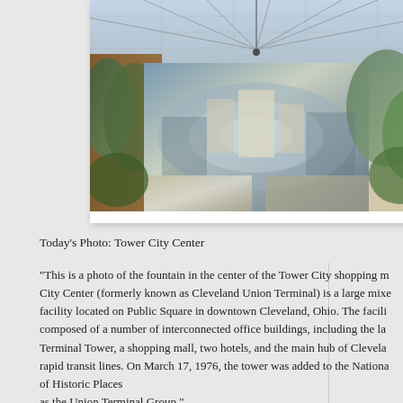[Figure (photo): Aerial or overhead photo of the fountain at Tower City Center shopping mall, showing a wide-angle view of the interior with a decorative fountain surrounded by architectural elements, plants, and a glass ceiling structure with cable supports.]
Today's Photo: Tower City Center
“This is a photo of the fountain in the center of the Tower City shopping mall. Tower City Center (formerly known as Cleveland Union Terminal) is a large mixed-use facility located on Public Square in downtown Cleveland, Ohio. The facility is composed of a number of interconnected office buildings, including the landmark Terminal Tower, a shopping mall, two hotels, and the main hub of Cleveland’s rapid transit lines. On March 17, 1976, the tower was added to the National Register of Historic Places as the Union Terminal Group.”